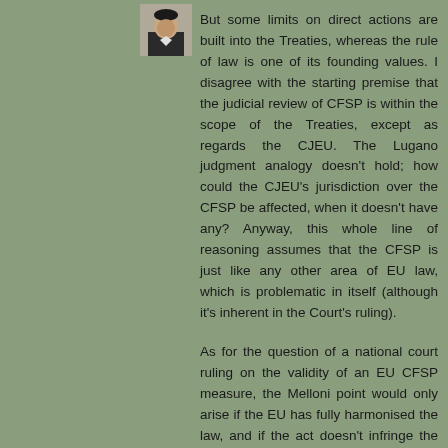[Figure (photo): Small avatar/profile photo of a person in a dark jacket, positioned top-left of the text column]
But some limits on direct actions are built into the Treaties, whereas the rule of law is one of its founding values. I disagree with the starting premise that the judicial review of CFSP is within the scope of the Treaties, except as regards the CJEU. The Lugano judgment analogy doesn't hold; how could the CJEU's jurisdiction over the CFSP be affected, when it doesn't have any? Anyway, this whole line of reasoning assumes that the CFSP is just like any other area of EU law, which is problematic in itself (although it's inherent in the Court's ruling).
As for the question of a national court ruling on the validity of an EU CFSP measure, the Melloni point would only arise if the EU has fully harmonised the law, and if the act doesn't infringe the Charter. But then, who could judge whether the Charter is infringed in the first place, if the CJEU and ECtHR cannot? I can't see how the logic of the Melloni ruling could apply, because of this jurisdictional point. And again,